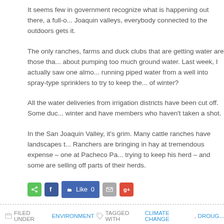It seems few in government recognize what is happening out there, a full-o... Joaquin valleys, everybody connected to the outdoors gets it.
The only ranches, farms and duck clubs that are getting water are those tha... about pumping too much ground water. Last week, I actually saw one almo... running piped water from a well into spray-type sprinklers to try to keep the... of winter?
All the water deliveries from irrigation districts have been cut off. Some duc... winter and have members who haven't taken a shot.
In the San Joaquin Valley, it's grim. Many cattle ranches have landscapes t... Ranchers are bringing in hay at tremendous expense – one at Pacheco Pa... trying to keep his herd – and some are selling off parts of their herds.
[Figure (other): Social sharing bar with share, Facebook, Like, email, and Google+ buttons]
FILED UNDER ENVIRONMENT TAGGED WITH CLIMATE CHANGE, DROUG...
California Drought Tightening Its Grip